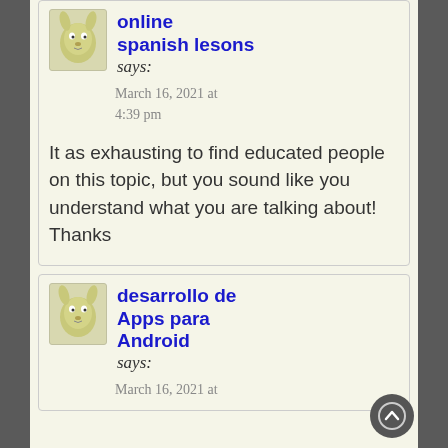[Figure (illustration): Cartoon kangaroo avatar for commenter 'online spanish lesons']
online spanish lesons says:
March 16, 2021 at 4:39 pm
It as exhausting to find educated people on this topic, but you sound like you understand what you are talking about! Thanks
[Figure (illustration): Cartoon kangaroo avatar for commenter 'desarrollo de Apps para Android']
desarrollo de Apps para Android says:
March 16, 2021 at